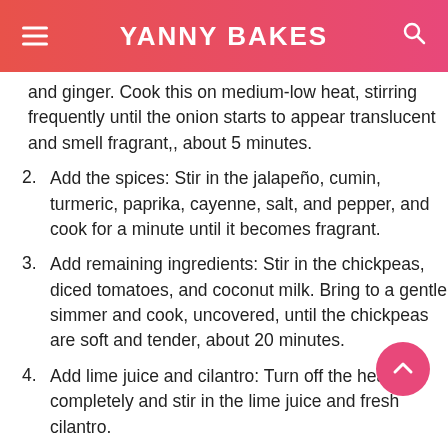YANNY BAKES
and ginger. Cook this on medium-low heat, stirring frequently until the onion starts to appear translucent and smell fragrant,, about 5 minutes.
2. Add the spices: Stir in the jalapeño, cumin, turmeric, paprika, cayenne, salt, and pepper, and cook for a minute until it becomes fragrant.
3. Add remaining ingredients: Stir in the chickpeas, diced tomatoes, and coconut milk. Bring to a gentle simmer and cook, uncovered, until the chickpeas are soft and tender, about 20 minutes.
4. Add lime juice and cilantro: Turn off the heat completely and stir in the lime juice and fresh cilantro.
5. Serve and enjoy: If you want to save it for later, be